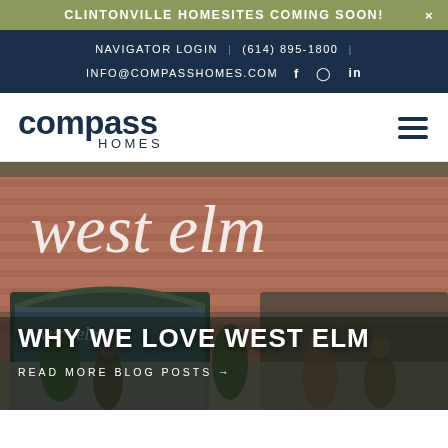CLINTONVILLE HOMESITES COMING SOON!
NAVIGATOR LOGIN | (614) 895-1800 | INFO@COMPASSHOMES.COM
[Figure (logo): Compass Homes logo with bold dark navy text]
[Figure (photo): Street-level photo of West Elm store exterior, red brick building with large 'west elm' lettering, people walking in front]
WHY WE LOVE WEST ELM
READ MORE BLOG POSTS →